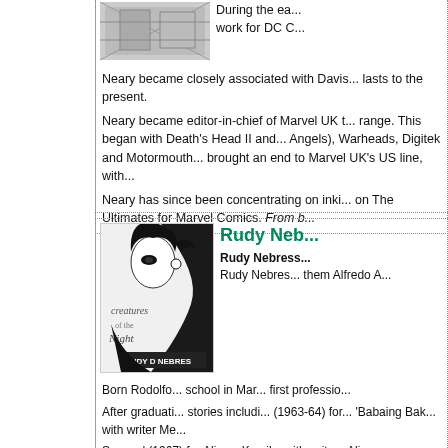[Figure (illustration): Black and white comic artwork showing figures, partially visible at top]
During the ea... work for DC C...
Neary became closely associated with Davis... lasts to the present.
Neary became editor-in-chief of Marvel UK... range. This began with Death's Head II and... Angels), Warheads, Digitek and Motormouth... brought an end to Marvel UK's US line, with...
Neary has since been concentrating on inki... on The Ultimates for Marvel Comics. From b...
Rudy Neb...
[Figure (illustration): Cover illustration for 'Creatures of the Night' by Rudy D. Nebres, showing a stylized woman's face with gothic lettering]
Rudy Nebress...
Rudy Nebres... them Alfredo A...
Born Rodolfo... school in Mar... first professio...
After graduati... stories includi... (1963-64) for... 'Babaing Bak... with writer Me...
Sammy' (1967) for Aliwan Komiks with write... Alin...